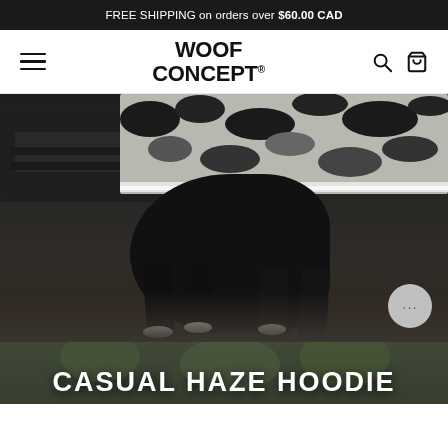FREE SHIPPING on orders over $60.00 CAD
[Figure (logo): Woof Concept logo - bold black sans-serif text reading WOOF CONCEPT with trademark symbol]
[Figure (photo): Dark photo of a black dog wearing a camouflage pattern hoodie/jacket, standing on pavement near a bench, low-key lighting]
CASUAL HAZE HOODIE